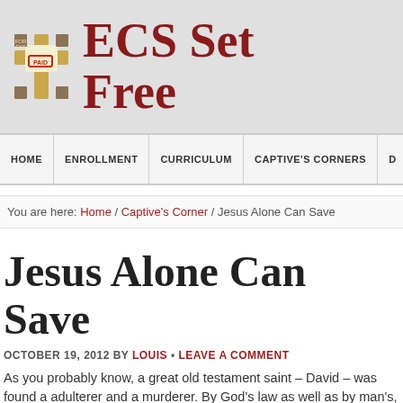[Figure (logo): ECS Set Free website logo with cross and 'FOR SINS PAID' stamp graphic]
ECS Set Free
HOME | ENROLLMENT | CURRICULUM | CAPTIVE'S CORNERS
You are here: Home / Captive's Corner / Jesus Alone Can Save
Jesus Alone Can Save
OCTOBER 19, 2012 BY LOUIS • LEAVE A COMMENT
As you probably know, a great old testament saint – David – was found a adulterer and a murderer. By God's law as well as by man's, he was wor brought under conviction of sin by the hand of Nathan the prophet, Davic expressed how he felt and to Whom he looked for mercy and restoration notice that Psalm 32 is quoted in Romans 4 as proof that a man is justifie of faith and not works. Further, Psalm 51 shows us what God expects fro